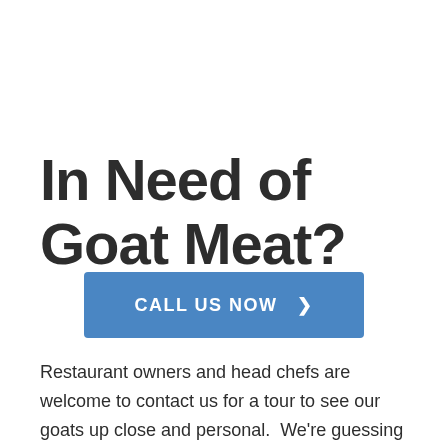In Need of Goat Meat?
CALL US NOW  ❯
Restaurant owners and head chefs are welcome to contact us for a tour to see our goats up close and personal.  We're guessing that the goat realm is new for you.  It would be our pleasure to get you up to speed.  A